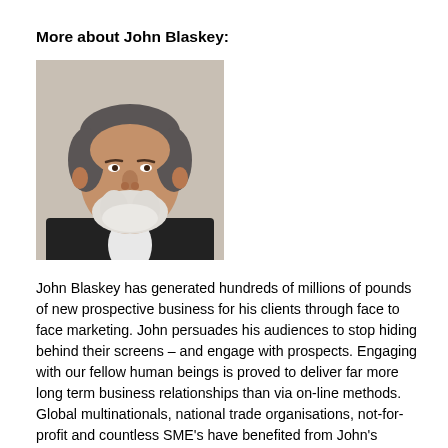More about John Blaskey:
[Figure (photo): Headshot photograph of John Blaskey, an older man with grey hair and a white beard, wearing a dark jacket and white shirt, smiling at the camera against a light grey background.]
John Blaskey has generated hundreds of millions of pounds of new prospective business for his clients through face to face marketing. John persuades his audiences to stop hiding behind their screens – and engage with prospects. Engaging with our fellow human beings is proved to deliver far more long term business relationships than via on-line methods. Global multinationals, national trade organisations, not-for-profit and countless SME's have benefited from John's insight. He has worked with government trade organizations in China, Dubai, Hong Kong, Indonesia, Italy, Kenya, Korea, Latvia and Thailand. Also global multi-nationals such as Astra Zeneca, EDF, Mitsubishi and GE Finance. Trade organizations have included Institute of Manufacturers and Traders, Ford...